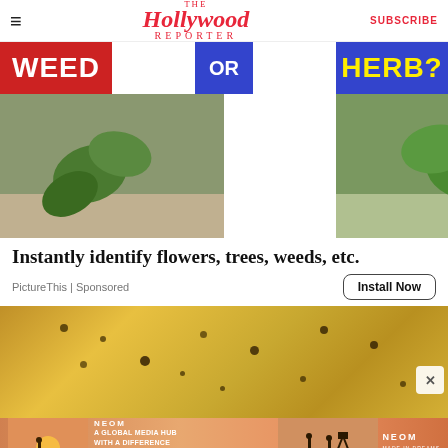The Hollywood Reporter | SUBSCRIBE
[Figure (photo): Advertisement image split into two sides: left side shows a weed plant growing from pavement with red banner reading WEED, right side shows a herb plant on ground with blue banner reading HERB?, center says OR]
Instantly identify flowers, trees, weeds, etc.
PictureThis | Sponsored
[Figure (photo): Close-up photo of a hand holding a yellowish-brown substance with dark speckles on it]
[Figure (photo): NEOM advertisement banner: A Global Media Hub With A Difference, with sunset scene and people]